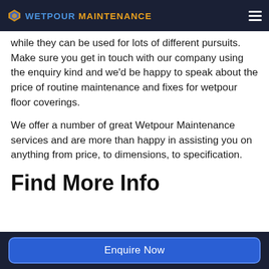WETPOUR MAINTENANCE
while they can be used for lots of different pursuits. Make sure you get in touch with our company using the enquiry kind and we'd be happy to speak about the price of routine maintenance and fixes for wetpour floor coverings.
We offer a number of great Wetpour Maintenance services and are more than happy in assisting you on anything from price, to dimensions, to specification.
Find More Info
Enquire Now